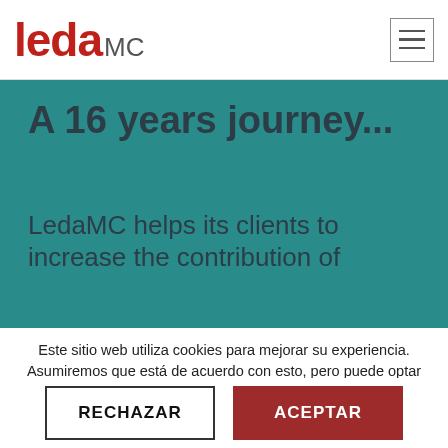leda MC
[Figure (screenshot): Navigation hamburger icon (three horizontal lines) in a bordered square]
A 16 years journey...
LedaMC helps its clients to increase the contribution of
Este sitio web utiliza cookies para mejorar su experiencia. Asumiremos que está de acuerdo con esto, pero puede optar por no hacerlo si lo desea. Política de cookies
RECHAZAR
ACEPTAR